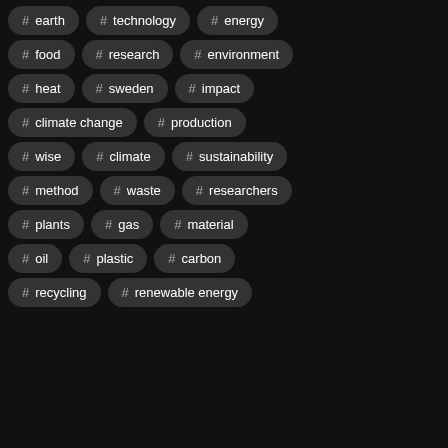# earth
# technology
# energy
# food
# research
# environment
# heat
# sweden
# impact
# climate change
# production
# wise
# climate
# sustainability
# method
# waste
# researchers
# plants
# gas
# material
# oil
# plastic
# carbon
# recycling
# renewable energy